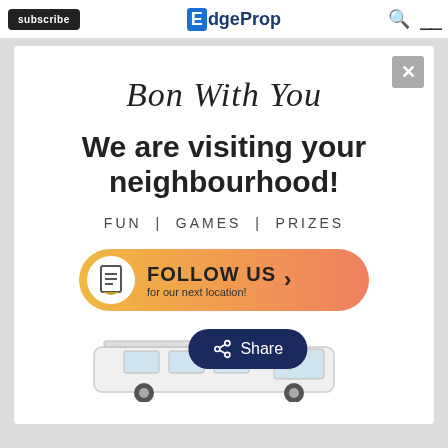subscribe | EdgeProp
Bon With You
We are visiting your neighbourhood!
FUN | GAMES | PRIZES
[Figure (infographic): Orange-to-pink gradient pill button with document icon and text: FOLLOW US for our next location! with a right arrow]
[Figure (infographic): Dark blue rounded rectangle Share button with share icon, overlaid on top of a white van illustration at bottom of modal]